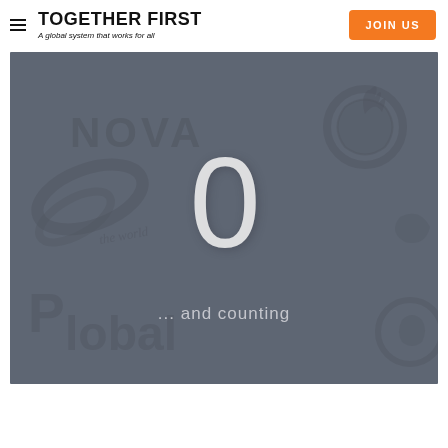TOGETHER FIRST — A global system that works for all | JOIN US
[Figure (screenshot): Dark grey image panel with watermark logos (NOVA, globe/flame icons, 'global' text) in the background. A large white '0' numeral is centered in the upper portion, and the text '... and counting' appears in lighter text in the lower middle area.]